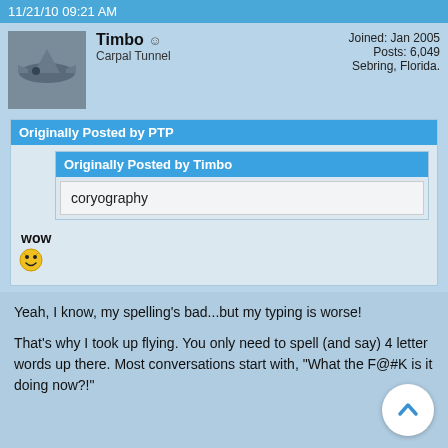11/21/10 09:21 AM
Timbo
Carpal Tunnel
Joined: Jan 2005
Posts: 6,049
Sebring, Florida.
Originally Posted by PTP
Originally Posted by Timbo
coryography
wow
Yeah, I know, my spelling's bad...but my typing is worse!
That's why I took up flying. You only need to spell (and say) 4 letter words up there. Most conversations start with, "What the F@#K is it doing now?!"